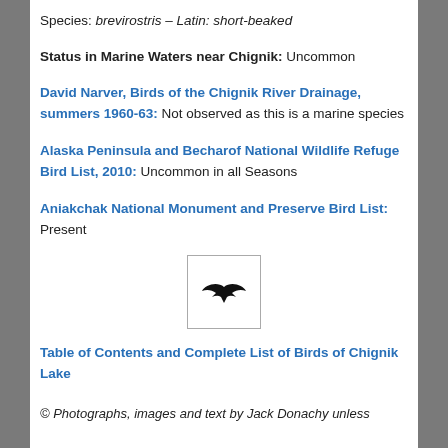Species: brevirostris – Latin: short-beaked
Status in Marine Waters near Chignik: Uncommon
David Narver, Birds of the Chignik River Drainage, summers 1960-63: Not observed as this is a marine species
Alaska Peninsula and Becharof National Wildlife Refuge Bird List, 2010: Uncommon in all Seasons
Aniakchak National Monument and Preserve Bird List: Present
[Figure (illustration): A small black silhouette of a bird in flight (swift/swallow shape) inside a square border]
Table of Contents and Complete List of Birds of Chignik Lake
© Photographs, images and text by Jack Donachy unless